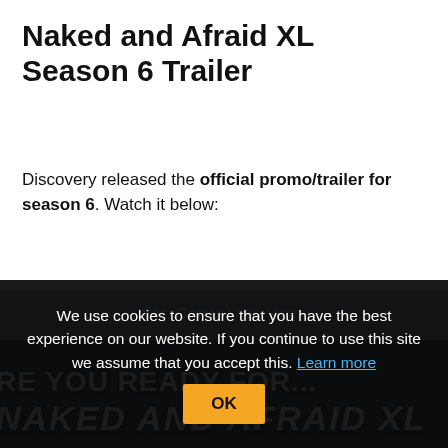Naked and Afraid XL Season 6 Trailer
Discovery released the official promo/trailer for season 6. Watch it below:
[Figure (screenshot): Video thumbnail showing dark blue scene with text 'RE YOU READY FOR...' and 'NAKED AND AFRAID XL' with a 'Click/Tap to Load Video' overlay]
We use cookies to ensure that you have the best experience on our website. If you continue to use this site we assume that you accept this. Learn more OK